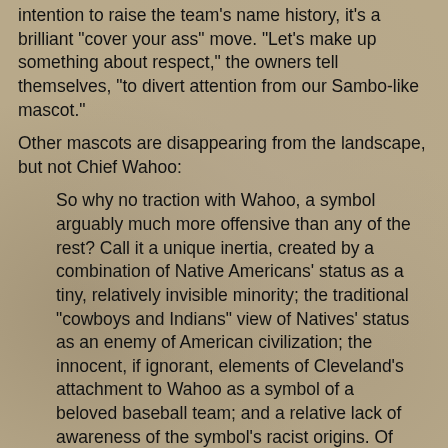intention to raise the team's name history, it's a brilliant "cover your ass" move. "Let's make up something about respect," the owners tell themselves, "to divert attention from our Sambo-like mascot."
Other mascots are disappearing from the landscape, but not Chief Wahoo:
So why no traction with Wahoo, a symbol arguably much more offensive than any of the rest? Call it a unique inertia, created by a combination of Native Americans' status as a tiny, relatively invisible minority; the traditional "cowboys and Indians" view of Natives' status as an enemy of American civilization; the innocent, if ignorant, elements of Cleveland's attachment to Wahoo as a symbol of a beloved baseball team; and a relative lack of awareness of the symbol's racist origins. Of course, there's also the fact that professional teams, unlike colleges and high schools, are owned by private individuals, most of whom happen to be white.
David Currie, a 73-year-old Euclid resident who